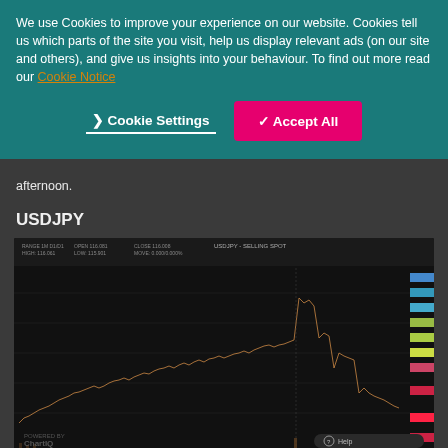We use Cookies to improve your experience on our website. Cookies tell us which parts of the site you visit, help us display relevant ads (on our site and others), and give us insights into your behaviour. To find out more read our Cookie Notice
Cookie Settings | ✓ Accept All
afternoon.
USDJPY
[Figure (continuous-plot): USDJPY candlestick/price chart on a dark background showing price movement over time with colored price level indicators on the right side. Chart shows an upward trend with a sharp spike and subsequent decline near the right side. Chart powered by ChartIQ with a Help button overlay.]